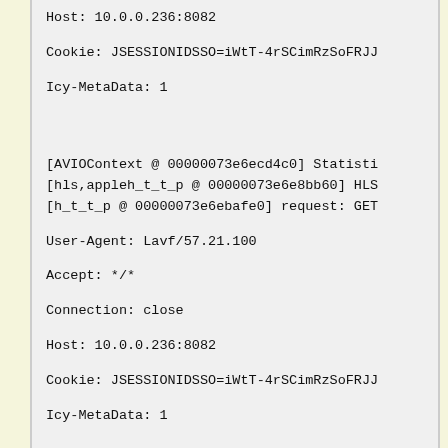Host: 10.0.0.236:8082
Cookie: JSESSIONIDSSO=iWtT-4rSCimRzSoFRJJ
Icy-MetaData: 1
[AVIOContext @ 00000073e6ecd4c0] Statisti
[hls,appleh_t_t_p @ 00000073e6e8bb60] HLS
[h_t_t_p @ 00000073e6ebafe0] request: GET
User-Agent: Lavf/57.21.100
Accept: */*
Connection: close
Host: 10.0.0.236:8082
Cookie: JSESSIONIDSSO=iWtT-4rSCimRzSoFRJJ
Icy-MetaData: 1
size= 45kB time=00:00:23.11 bitrate= 16.1